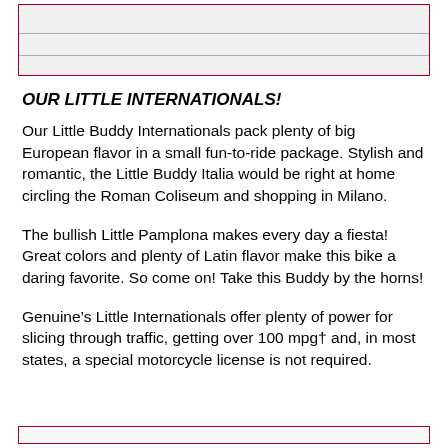[Figure (other): Gray box with horizontal lines at top of page, bordered in dark red]
OUR LITTLE INTERNATIONALS!
Our Little Buddy Internationals pack plenty of big European flavor in a small fun-to-ride package. Stylish and romantic, the Little Buddy Italia would be right at home circling the Roman Coliseum and shopping in Milano.
The bullish Little Pamplona makes every day a fiesta! Great colors and plenty of Latin flavor make this bike a daring favorite. So come on! Take this Buddy by the horns!
Genuine’s Little Internationals offer plenty of power for slicing through traffic, getting over 100 mpg† and, in most states, a special motorcycle license is not required.
[Figure (other): Dark red bordered bar at bottom of page]